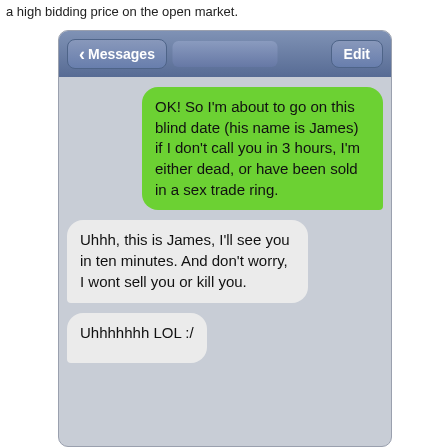a high bidding price on the open market.
[Figure (screenshot): iOS Messages app screenshot showing a conversation. Outgoing green bubble: 'OK! So I'm about to go on this blind date (his name is James) if I don't call you in 3 hours, I'm either dead, or have been sold in a sex trade ring.' Incoming gray bubble: 'Uhhh, this is James, I'll see you in ten minutes. And don't worry, I wont sell you or kill you.' Partial incoming bubble at bottom: 'Uhhhhhhh LOL :/']